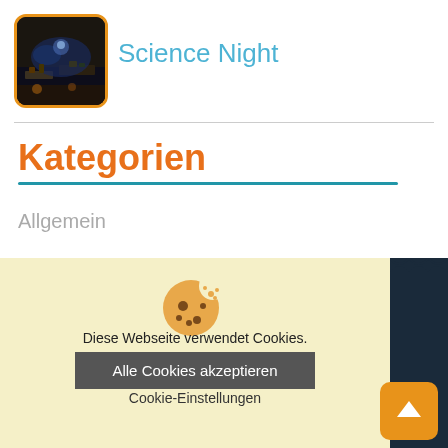[Figure (logo): Science Night logo image with orange border, dark photo of science event]
Science Night
Kategorien
Allgemein
[Figure (illustration): Cookie consent popup with cookie icon graphic, text 'Diese Webseite verwendet Cookies.', button 'Alle Cookies akzeptieren', and link 'Cookie-Einstellungen']
Diese Webseite verwendet Cookies.
Alle Cookies akzeptieren
Cookie-Einstellungen
aße 30, 2102
62/620003300
Bereich
mmenarbeit mit
at erstellt.